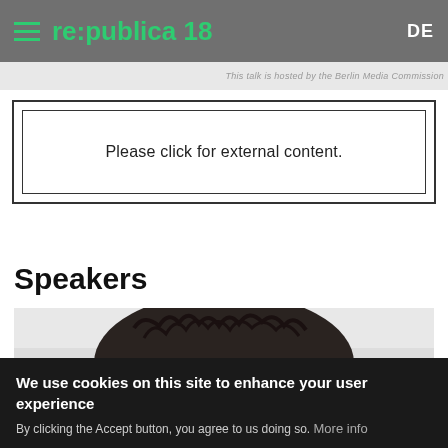re:publica 18  DE
This talk is hosted by the Berlin Media Commission
Please click for external content.
Speakers
[Figure (photo): Partially visible person's dark hair, cropped, with light background. Privacy settings overlay in bottom-left corner.]
Privacy settings
We use cookies on this site to enhance your user experience
By clicking the Accept button, you agree to us doing so. More info